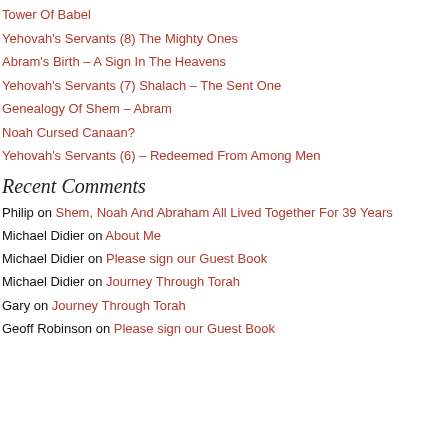Tower Of Babel
Yehovah's Servants (8) The Mighty Ones
Abram's Birth – A Sign In The Heavens
Yehovah's Servants (7) Shalach – The Sent One
Genealogy Of Shem – Abram
Noah Cursed Canaan?
Yehovah's Servants (6) – Redeemed From Among Men
Recent Comments
Philip on Shem, Noah And Abraham All Lived Together For 39 Years
Michael Didier on About Me
Michael Didier on Please sign our Guest Book
Michael Didier on Journey Through Torah
Gary on Journey Through Torah
Geoff Robinson on Please sign our Guest Book